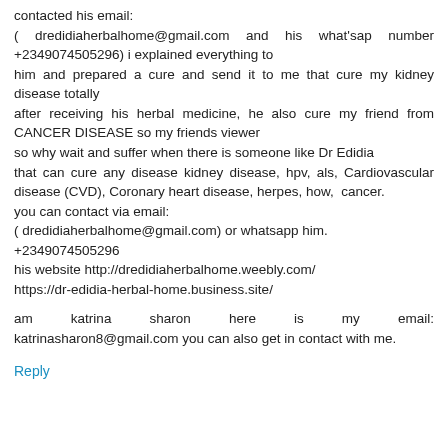contacted his email:
( dredidiaherbalhome@gmail.com and his what'sap number +2349074505296) i explained everything to him and prepared a cure and send it to me that cure my kidney disease totally
after receiving his herbal medicine, he also cure my friend from CANCER DISEASE so my friends viewer
so why wait and suffer when there is someone like Dr Edidia
that can cure any disease kidney disease, hpv, als, Cardiovascular disease (CVD), Coronary heart disease, herpes, how, cancer.
you can contact via email:
( dredidiaherbalhome@gmail.com) or whatsapp him.
+2349074505296
his website http://dredidiaherbalhome.weebly.com/
https://dr-edidia-herbal-home.business.site/

am katrina sharon here is my email: katrinasharon8@gmail.com you can also get in contact with me.
Reply